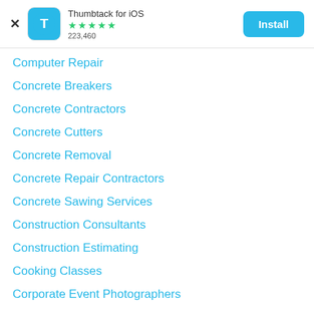Thumbtack for iOS ★★★★★ 223,460 Install
Computer Repair
Concrete Breakers
Concrete Contractors
Concrete Cutters
Concrete Removal
Concrete Repair Contractors
Concrete Sawing Services
Construction Consultants
Construction Estimating
Cooking Classes
Corporate Event Photographers